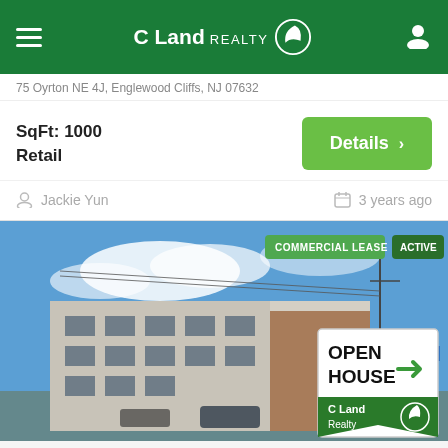C Land Realty
75 Oyrton NE 4J, Englewood Cliffs, NJ 07632
SqFt: 1000
Retail
Details >
Jackie Yun
3 years ago
[Figure (photo): Exterior photo of a multi-story commercial office building with blue sky background. An Open House sign by C Land Realty is visible in the lower right. Badges read COMMERCIAL LEASE and ACTIVE.]